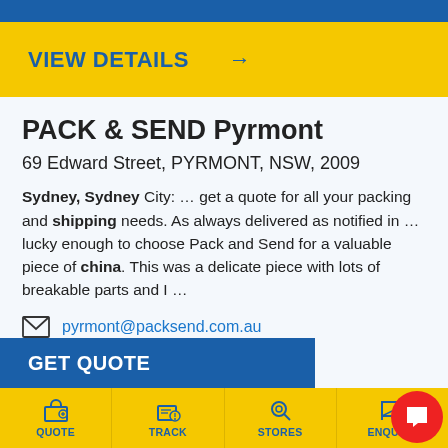[Figure (screenshot): Blue header bar at top]
VIEW DETAILS →
PACK & SEND Pyrmont
69 Edward Street, PYRMONT, NSW, 2009
Sydney, Sydney City: … get a quote for all your packing and shipping needs. As always delivered as notified in … lucky enough to choose Pack and Send for a valuable piece of china. This was a delicate piece with lots of breakable parts and I …
pyrmont@packsend.com.au
251 reviews
02 9660 5088
GET QUOTE
QUOTE  TRACK  STORES  ENQUIRE